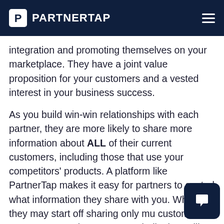PARTNERTAP
integration and promoting themselves on your marketplace. They have a joint value proposition for your customers and a vested interest in your business success.
As you build win-win relationships with each partner, they are more likely to share more information about ALL of their current customers, including those that use your competitors' products. A platform like PartnerTap makes it easy for partners to control what information they share with you. While they may start off sharing only mu customer accounts, over time, once trus built, they will expand what they share wi you to include all customers, or all customers